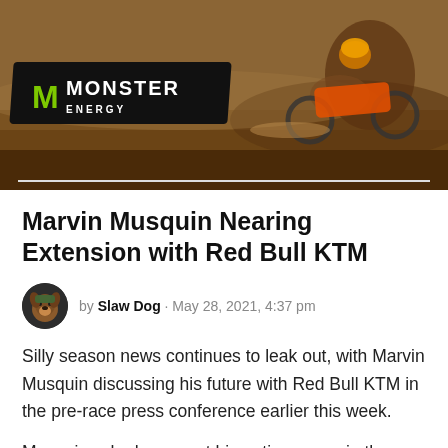[Figure (photo): Motocross/supercross action photo showing a rider on a dirt bike on a dirt track with a Monster Energy banner/sign visible in the lower left area. The background is brown dirt.]
Marvin Musquin Nearing Extension with Red Bull KTM
by Slaw Dog · May 28, 2021, 4:37 pm
Silly season news continues to leak out, with Marvin Musquin discussing his future with Red Bull KTM in the pre-race press conference earlier this week.
Musquin, who has spent his entire career in the